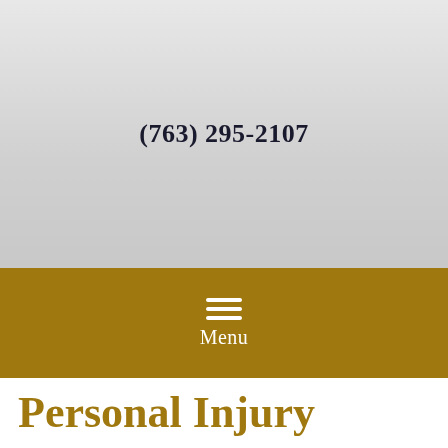(763) 295-2107
Menu
Personal Injury FAQ